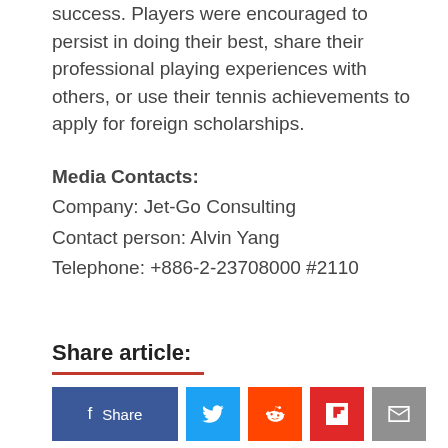success. Players were encouraged to persist in doing their best, share their professional playing experiences with others, or use their tennis achievements to apply for foreign scholarships.
Media Contacts:
Company: Jet-Go Consulting
Contact person: Alvin Yang
Telephone: +886-2-23708000 #2110
Share article:
[Figure (other): Social sharing buttons: Facebook Share, Twitter, Reddit, Flipboard, Email]